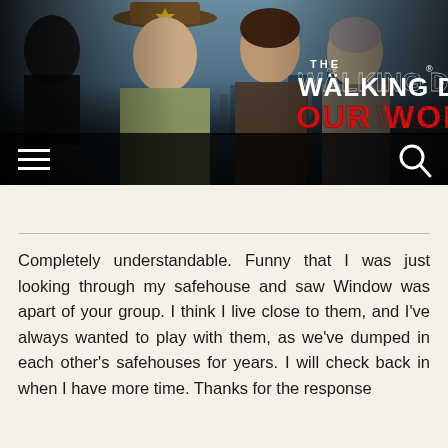[Figure (illustration): The Walking Dead: Our World game banner showing characters (Rick Grimes, Michonne, Daryl Dixon, Carol) with the game logo text 'THE WALKING DEAD OUR WORLD' and navigation bar with hamburger menu and search icon]
Completely understandable.  Funny that I was just looking through my safehouse and saw Window was apart of your group.   I think I live close to them,  and I've always wanted to play with them,  as we've dumped in each other's safehouses for years.  I will check back in when I have more time.   Thanks for the response